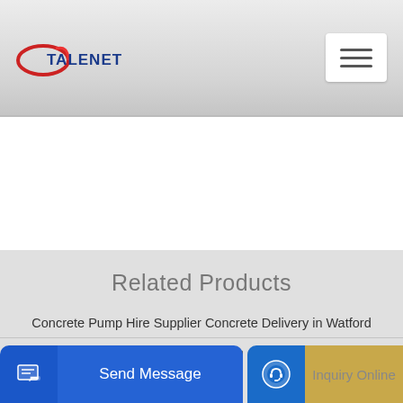TALENET
[Figure (logo): Talenet company logo with red ellipse and blue bold text]
Related Products
Concrete Pump Hire Supplier Concrete Delivery in Watford
2 concrete pump vector icons
Send Message
Inquiry Online